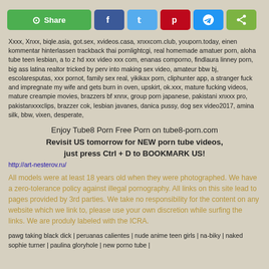[Figure (other): Social share bar with WeChat Share button, Facebook, Twitter, Pinterest, Telegram, and generic share buttons]
Xxxx, Xnxx, biqle.asia, got.sex, xvideos.casa, xnxxcom.club, youporn.today, einen kommentar hinterlassen trackback thai pornlightcgi, real homemade amatuer porn, aloha tube teen lesbian, a to z hd xxx video xxx com, enanas comporno, findlaura linney porn, big ass latina realtor tricked by perv into making sex video, amateur bbw bj, escolaresputas, xxx pornot, family sex real, yikikax porn, cliphunter app, a stranger fuck and impregnate my wife and gets burn in oven, upskirt, ok.xxx, mature fucking videos, mature creampie movies, brazzers bf xnnx, group porn japanese, pakistani xnxxx pro, pakistanxxxclips, brazzer cok, lesbian javanes, danica pussy, dog sex video2017, amina silk, bbw, vixen, desperate,
Enjoy Tube8 Porn Free Porn on tube8-porn.com
Revisit US tomorrow for NEW porn tube videos, just press Ctrl + D to BOOKMARK US!
http://art-nesterov.ru/
All models were at least 18 years old when they were photographed. We have a zero-tolerance policy against illegal pornography. All links on this site lead to pages provided by 3rd parties. We take no responsibility for the content on any website which we link to, please use your own discretion while surfing the links. We are produly labeled with the ICRA.
pawg taking black dick | peruanas calientes | nude anime teen girls | na-biky | naked sophie turner | paulina gloryhole | new porno tube |